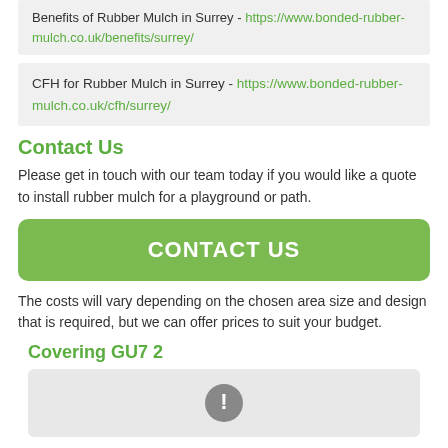Benefits of Rubber Mulch in Surrey - https://www.bonded-rubber-mulch.co.uk/benefits/surrey/
CFH for Rubber Mulch in Surrey - https://www.bonded-rubber-mulch.co.uk/cfh/surrey/
Contact Us
Please get in touch with our team today if you would like a quote to install rubber mulch for a playground or path.
CONTACT US
The costs will vary depending on the chosen area size and design that is required, but we can offer prices to suit your budget.
Covering GU7 2
[Figure (map): Map image placeholder with an error/exclamation icon in the center, shown on a light grey background]